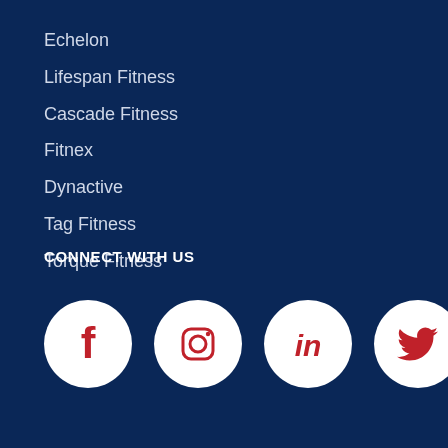Echelon
Lifespan Fitness
Cascade Fitness
Fitnex
Dynactive
Tag Fitness
Torque Fitness
CONNECT WITH US
[Figure (infographic): Four social media icons in white circles on dark navy background: Facebook, Instagram, LinkedIn, Twitter (in red)]